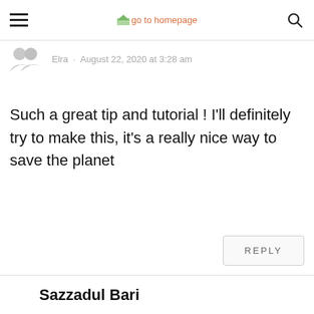go to homepage
Elra · August 22, 2020 at 3:28 am
Such a great tip and tutorial ! I'll definitely try to make this, it's a really nice way to save the planet
REPLY
Sazzadul Bari